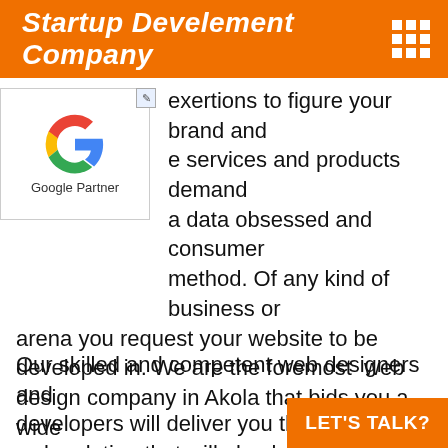Startup Develement Company
[Figure (logo): Google Partner logo with multicolor G icon and 'Google Partner' text below]
We take exertions to figure your brand and e services and products demand a data obsessed and consumer method. Of any kind of business or arena you request your website to be developed in. We are the foremost web design company in Akola that bids you a wide display of tech agendas.
Our skilled and competent web designers and developers will deliver you the superlative web solution that will absolutely go beyond your prospects in terms of usefulness and presentation. We have been vi...
LET'S TALK?